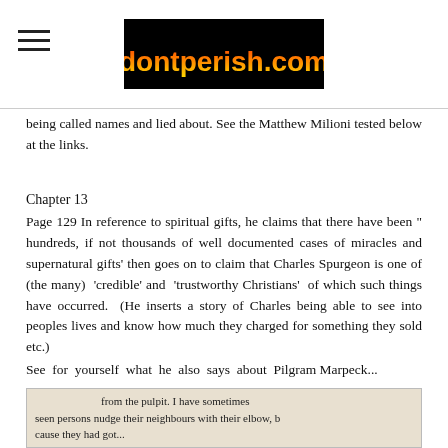dontperish.com
being called names and lied about. See the Matthew Milioni tested below at the links.
Chapter 13
Page 129 In reference to spiritual gifts, he claims that there have been " hundreds, if not thousands of well documented cases of miracles and supernatural gifts' then goes on to claim that Charles Spurgeon is one of (the many) 'credible' and 'trustworthy Christians' of which such things have occurred. (He inserts a story of Charles being able to see into peoples lives and know how much they charged for something they sold etc.)
See for yourself what he also says about Pilgram Marpeck...
[Figure (screenshot): Scanned text snippet reading: 'from the pulpit. I have sometimes seen persons nudge their neighbours with their elbow, because they had got...']